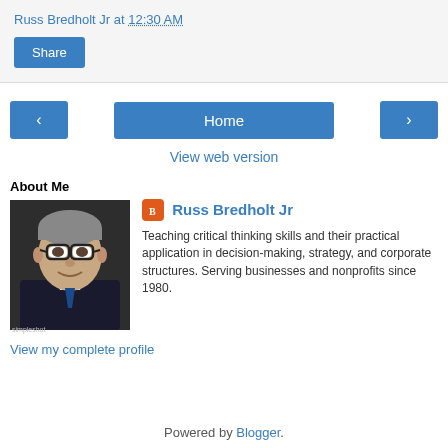Russ Bredholt Jr at 12:30 AM
Share
< Home >
View web version
About Me
Russ Bredholt Jr
Teaching critical thinking skills and their practical application in decision-making, strategy, and corporate structures. Serving businesses and nonprofits since 1980.
View my complete profile
Powered by Blogger.